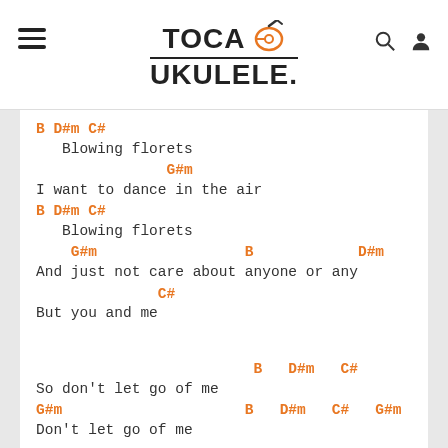TOCA UKULELE
B    D#m      C#
   Blowing florets
               G#m
I want to dance in the air
B    D#m      C#
   Blowing florets
    G#m               B         D#m
And just not care about anyone or any
              C#
But you and me
B   D#m   C#
So don't let go of me
G#m               B   D#m   C#   G#m
Don't let go of me